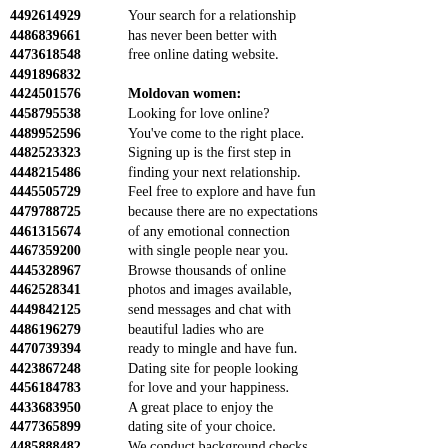4492614929  Your search for a relationship
4486839661  has never been better with
4473618548  free online dating website.
4491896832
4424501576  Moldovan women:
4458795538  Looking for love online?
4489952596  You've come to the right place.
4482523323  Signing up is the first step in
4448215486  finding your next relationship.
4445505729  Feel free to explore and have fun
4479788725  because there are no expectations
4461315674  of any emotional connection
4467359200  with single people near you.
4445328967  Browse thousands of online
4462528341  photos and images available,
4449842125  send messages and chat with
4486196279  beautiful ladies who are
4470739394  ready to mingle and have fun.
4423867248  Dating site for people looking
4456184783  for love and your happiness.
4433683950  A great place to enjoy the
4477365899  dating site of your choice.
4485888482  We conduct background checks
4449778131  to ensure a good service
4421588292  experience with people who are